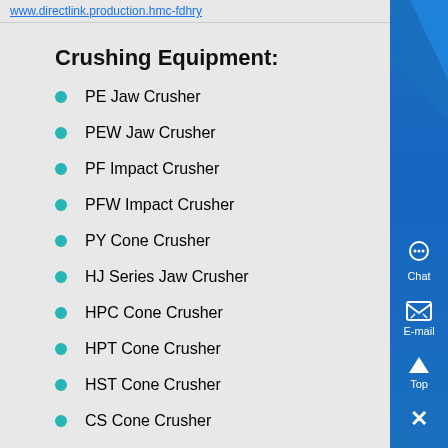www.directlink.production.hmc-fdhry
Crushing Equipment:
PE Jaw Crusher
PEW Jaw Crusher
PF Impact Crusher
PFW Impact Crusher
PY Cone Crusher
HJ Series Jaw Crusher
HPC Cone Crusher
HPT Cone Crusher
HST Cone Crusher
CS Cone Crusher
Hammer Crusher